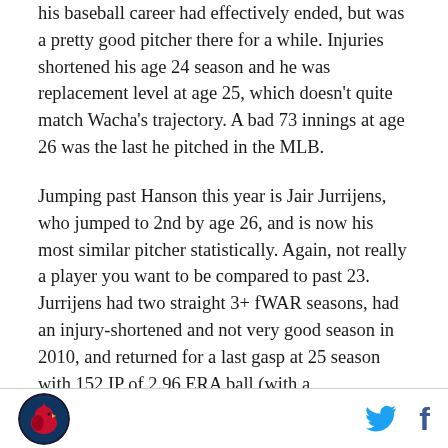his baseball career had effectively ended, but was a pretty good pitcher there for a while. Injuries shortened his age 24 season and he was replacement level at age 25, which doesn't quite match Wacha's trajectory. A bad 73 innings at age 26 was the last he pitched in the MLB.
Jumping past Hanson this year is Jair Jurrijens, who jumped to 2nd by age 26, and is now his most similar pitcher statistically. Again, not really a player you want to be compared to past 23. Jurrijens had two straight 3+ fWAR seasons, had an injury-shortened and not very good season in 2010, and returned for a last gasp at 25 season with 152 IP of 2.96 ERA ball (with a
Logo and social icons